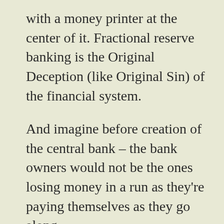with a money printer at the center of it. Fractional reserve banking is the Original Deception (like Original Sin) of the financial system.
And imagine before creation of the central bank – the bank owners would not be the ones losing money in a run as they're paying themselves as they go along.
If that money printer at the center of the system can be operated with restraint and in a limited fashion, the system can be stabilized it